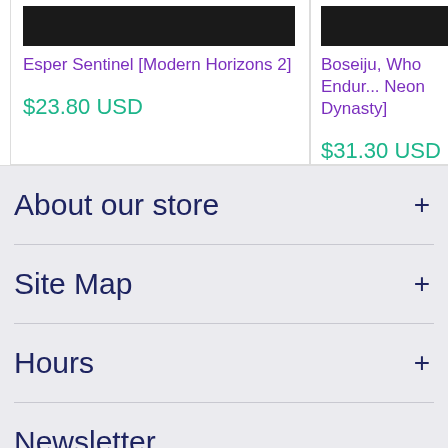Esper Sentinel [Modern Horizons 2]
$23.80 USD
Boseiju, Who Endures [Kamigawa: Neon Dynasty]
$31.30 USD
About our store
Site Map
Hours
Newsletter